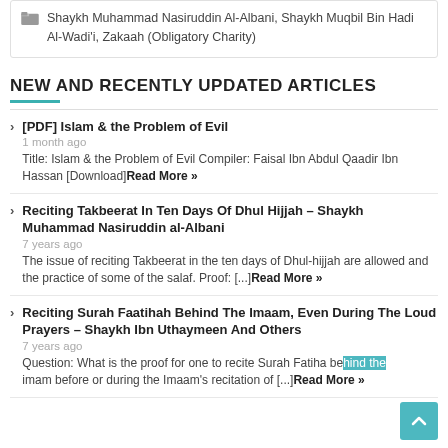Shaykh Muhammad Nasiruddin Al-Albani, Shaykh Muqbil Bin Hadi Al-Wadi'i, Zakaah (Obligatory Charity)
NEW AND RECENTLY UPDATED ARTICLES
[PDF] Islam & the Problem of Evil — 1 month ago — Title: Islam & the Problem of Evil Compiler: Faisal Ibn Abdul Qaadir Ibn Hassan [Download]Read More »
Reciting Takbeerat In Ten Days Of Dhul Hijjah – Shaykh Muhammad Nasiruddin al-Albani — 7 years ago — The issue of reciting Takbeerat in the ten days of Dhul-hijjah are allowed and the practice of some of the salaf. Proof: [...]Read More »
Reciting Surah Faatihah Behind The Imaam, Even During The Loud Prayers – Shaykh Ibn Uthaymeen And Others — 7 years ago — Question: What is the proof for one to recite Surah Fatiha behind the imam before or during the Imaam's recitation of [...]Read More »